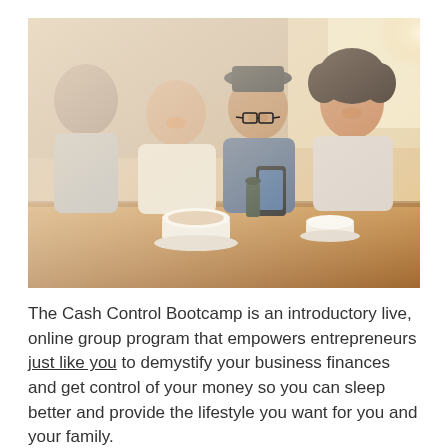[Figure (photo): Four young people sitting around a table at a cafe, smiling and looking at a smartphone together, with coffee cups on the table.]
The Cash Control Bootcamp is an introductory live, online group program that empowers entrepreneurs just like you to demystify your business finances and get control of your money so you can sleep better and provide the lifestyle you want for you and your family.